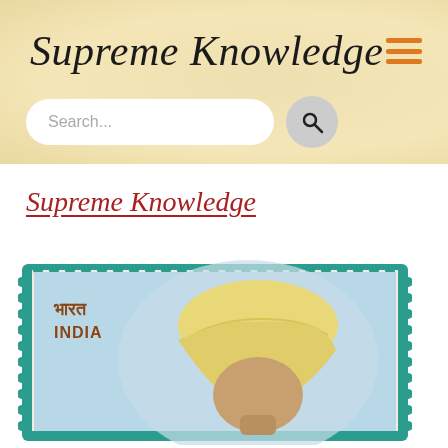Supreme Knowledge
Supreme Knowledge
[Figure (photo): An Indian postage stamp with teal/green perforated border showing text 'भारत INDIA' in the upper left corner, and a portrait of a person wearing a traditional yellow/cream turban, against a light blue background.]